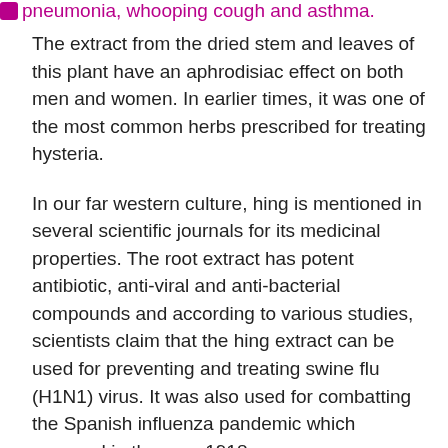pneumonia, whooping cough and asthma.
The extract from the dried stem and leaves of this plant have an aphrodisiac effect on both men and women. In earlier times, it was one of the most common herbs prescribed for treating hysteria.
In our far western culture, hing is mentioned in several scientific journals for its medicinal properties. The root extract has potent antibiotic, anti-viral and anti-bacterial compounds and according to various studies, scientists claim that the hing extract can be used for preventing and treating swine flu (H1N1) virus. It was also used for combatting the Spanish influenza pandemic which occurred in the year 1918.
Hing has found its way in the holistic treatments of